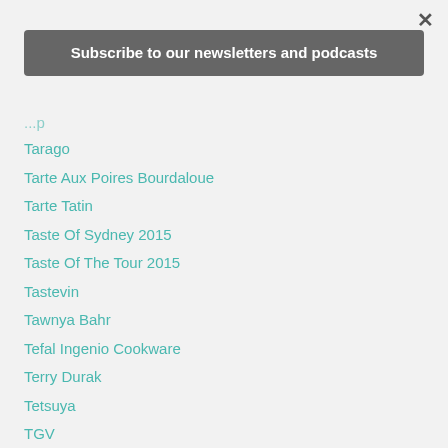×
Subscribe to our newsletters and podcasts
Tarago
Tarte Aux Poires Bourdaloue
Tarte Tatin
Taste Of Sydney 2015
Taste Of The Tour 2015
Tastevin
Tawnya Bahr
Tefal Ingenio Cookware
Terry Durak
Tetsuya
TGV
The Age Of Reason
The Bather's Pavillon
The Beaches Market
The Cook's Compagnon
The Cook's Grocer